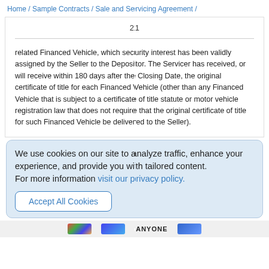Home / Sample Contracts / Sale and Servicing Agreement /
21
related Financed Vehicle, which security interest has been validly assigned by the Seller to the Depositor. The Servicer has received, or will receive within 180 days after the Closing Date, the original certificate of title for each Financed Vehicle (other than any Financed Vehicle that is subject to a certificate of title statute or motor vehicle registration law that does not require that the original certificate of title for such Financed Vehicle be delivered to the Seller).
We use cookies on our site to analyze traffic, enhance your experience, and provide you with tailored content. For more information visit our privacy policy.
Accept All Cookies